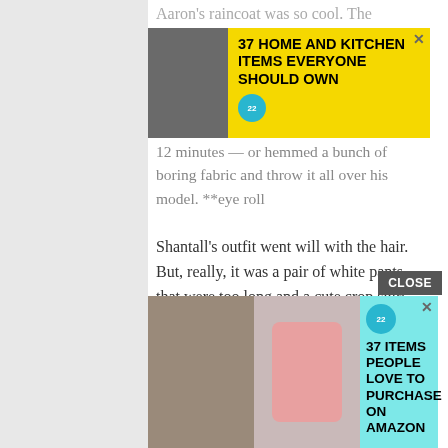[Figure (screenshot): Top advertisement banner with yellow background: '37 HOME AND KITCHEN ITEMS EVERYONE SHOULD OWN' with food image on left and circular badge logo, close X button]
Aaron's raincoat was so cool. The ... made it quite race-dress with those 12 minutes — or hemmed a bunch of boring fabric and throw it all over his model. **eye roll
Shantall's outfit went will with the hair. But, really, it was a pair of white pants that were too long and a cute crop shirt and a so-so jacket. Nothing innovative or special. Maybe I'm salty because Aaron went home but his jacket was so much better than Shantall's outfit that we could go buy off the rack today. Pr...e
[Figure (screenshot): CLOSE button overlay on bottom right of article text area]
[Figure (screenshot): Bottom advertisement banner with cyan/teal background: '37 ITEMS PEOPLE LOVE TO PURCHASE ON AMAZON' with two images on left (person with necklace, pink product dispenser) and circular badge logo, close X button]